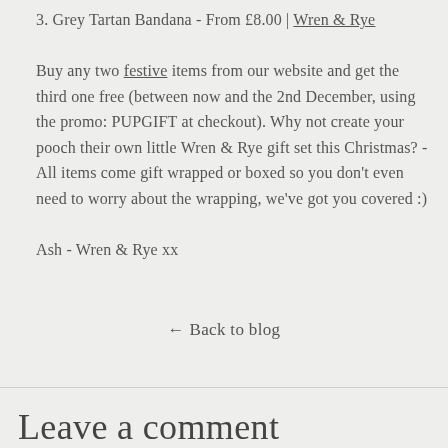3. Grey Tartan Bandana - From £8.00 | Wren & Rye
Buy any two festive items from our website and get the third one free (between now and the 2nd December, using the promo: PUPGIFT at checkout). Why not create your pooch their own little Wren & Rye gift set this Christmas? - All items come gift wrapped or boxed so you don't even need to worry about the wrapping, we've got you covered :)
Ash - Wren & Rye xx
← Back to blog
Leave a comment